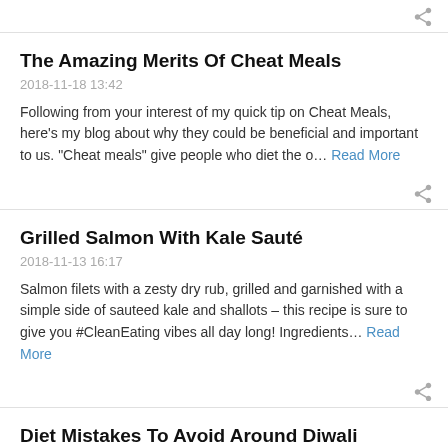[Figure (other): Share icon at top right]
The Amazing Merits Of Cheat Meals
2018-11-18 13:42
Following from your interest of my quick tip on Cheat Meals, here’s my blog about why they could be beneficial and important to us. “Cheat meals” give people who diet the o… Read More
[Figure (other): Share icon]
Grilled Salmon With Kale Sauté
2018-11-13 16:17
Salmon filets with a zesty dry rub, grilled and garnished with a simple side of sauteed kale and shallots – this recipe is sure to give you #CleanEating vibes all day long! Ingredients… Read More
[Figure (other): Share icon]
Diet Mistakes To Avoid Around Diwali
2018-10-30 14:02
Diwali usually heralds a time of great festivity and merrymaking that is always a fantastic fall-out of celebrations on the now-celebrated global